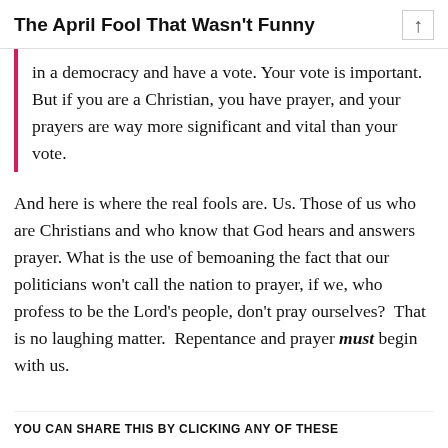The April Fool That Wasn't Funny
in a democracy and have a vote. Your vote is important. But if you are a Christian, you have prayer, and your prayers are way more significant and vital than your vote.
And here is where the real fools are. Us. Those of us who are Christians and who know that God hears and answers prayer. What is the use of bemoaning the fact that our politicians won't call the nation to prayer, if we, who profess to be the Lord's people, don't pray ourselves? That is no laughing matter. Repentance and prayer must begin with us.
YOU CAN SHARE THIS BY CLICKING ANY OF THESE